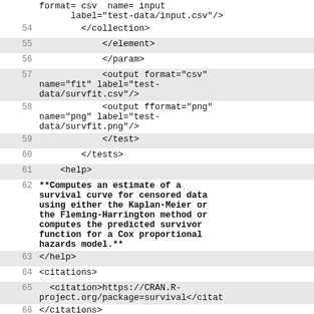format="csv" name="input" label="test-data/input.csv"/>
54    </collection>
55    </element>
56    </param>
57    <output format="csv" name="fit" label="test-data/survfit.csv"/>
58    <output fformat="png" name="png" label="test-data/survfit.png"/>
59    </test>
60    </tests>
61    <help>
62    **Computes an estimate of a survival curve for censored data using either the Kaplan-Meier or the Fleming-Harrington method or computes the predicted survivor function for a Cox proportional hazards model.**
63    </help>
64    <citations>
65    <citation>https://CRAN.R-project.org/package=survival</citation>
66    </citations>
67    </tool>